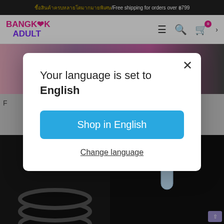ซื้อสินค้าครบ/Free shipping for orders over ฿799
[Figure (logo): Bangkok Adult logo with pink and purple text]
[Figure (screenshot): Background website content showing product images]
Your language is set to English
Shop in English
Change language